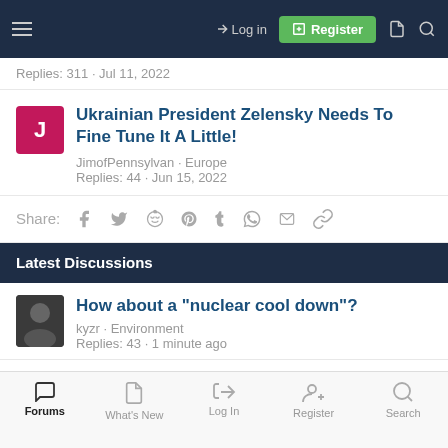Log in | Register
Replies: 311 · Jul 11, 2022
Ukrainian President Zelensky Needs To Fine Tune It A Little!
JimofPennsylvan · Europe
Replies: 44 · Jun 15, 2022
Share:
Latest Discussions
How about a "nuclear cool down"?
kyzr · Environment
Replies: 43 · 1 minute ago
Forums | What's New | Log In | Register | Search